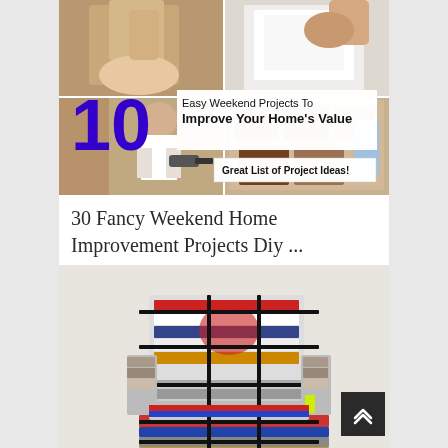[Figure (photo): Collage of home improvement project photos with large blue '10' number overlay and text '10 Easy Weekend Projects To Improve Your Home's Value' and badge 'Great List of Project Ideas!']
30 Fancy Weekend Home Improvement Projects Diy ...
[Figure (photo): Photo of an armchair made from stacked and bundled clothes/fabric tied together with straps]